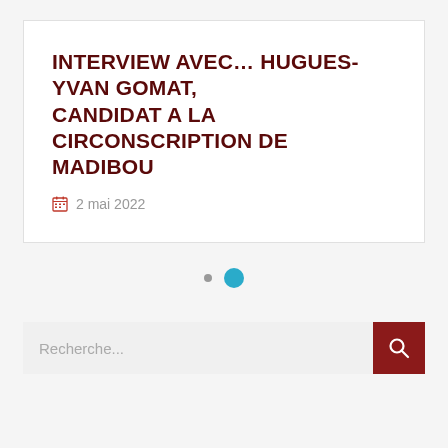INTERVIEW AVEC... HUGUES-YVAN GOMAT, CANDIDAT A LA CIRCONSCRIPTION DE MADIBOU
2 mai 2022
[Figure (other): Pagination dots: one small grey dot and one larger teal/cyan dot, indicating a carousel or slideshow position indicator]
Recherche...